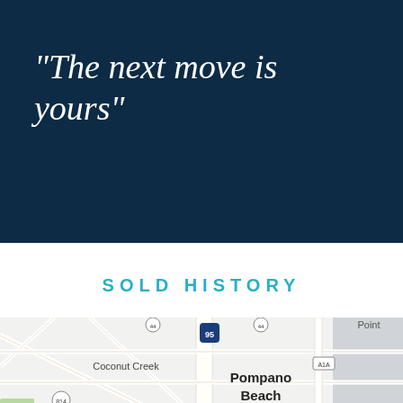“The next move is yours”
SOLD HISTORY
[Figure (map): Street map showing Pompano Beach, Florida area with Coconut Creek to the left, Interstate 95, Route A1A, Route 814, and partial label 'Point' at the top right.]